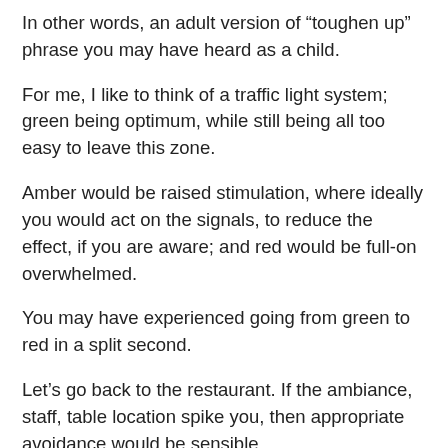In other words, an adult version of “toughen up” phrase you may have heard as a child.
For me, I like to think of a traffic light system; green being optimum, while still being all too easy to leave this zone.
Amber would be raised stimulation, where ideally you would act on the signals, to reduce the effect, if you are aware; and red would be full-on overwhelmed.
You may have experienced going from green to red in a split second.
Let’s go back to the restaurant. If the ambiance, staff, table location spike you, then appropriate avoidance would be sensible.
Walk straight back out, or ask for a different table.
To some, this might seem like overreacting. But for an HSD...